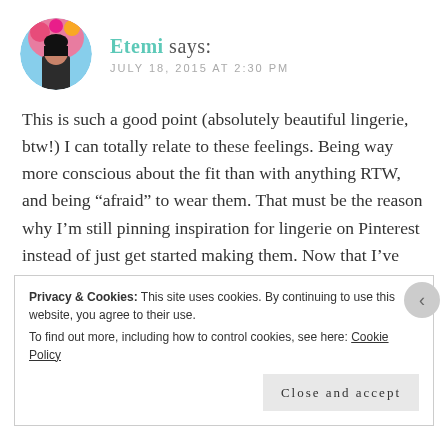[Figure (photo): Circular avatar photo of a person outdoors]
Etemi says:
JULY 18, 2015 AT 2:30 PM
This is such a good point (absolutely beautiful lingerie, btw!) I can totally relate to these feelings. Being way more conscious about the fit than with anything RTW, and being “afraid” to wear them. That must be the reason why I’m still pinning inspiration for lingerie on Pinterest instead of just get started making them. Now that I’ve found this blog of yours, I’ll make myself some hot chocolate and get reading!:)
Privacy & Cookies: This site uses cookies. By continuing to use this website, you agree to their use.
To find out more, including how to control cookies, see here: Cookie Policy
Close and accept